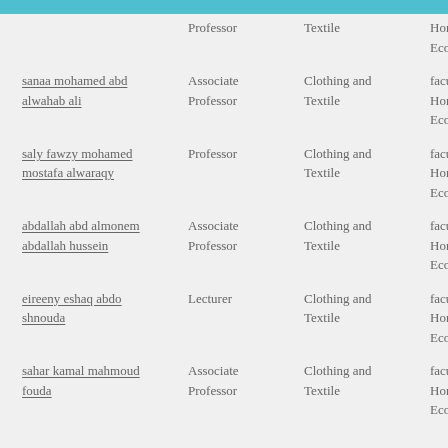| Name | Rank | Specialization | Faculty |
| --- | --- | --- | --- |
|  | Professor | Textile | Home Economic |
| sanaa mohamed abd alwahab ali | Associate Professor | Clothing and Textile | faculty of Home Economic |
| saly fawzy mohamed mostafa alwaraqy | Professor | Clothing and Textile | faculty of Home Economic |
| abdallah abd almonem abdallah hussein | Associate Professor | Clothing and Textile | faculty of Home Economic |
| eireeny eshaq abdo shnouda | Lecturer | Clothing and Textile | faculty of Home Economic |
| sahar kamal mahmoud fouda | Associate Professor | Clothing and Textile | faculty of Home Economic |